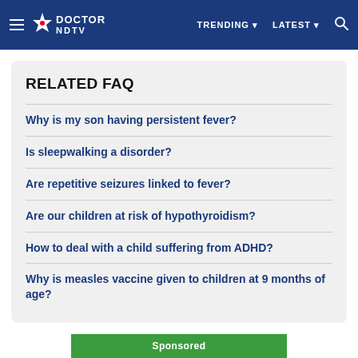DOCTOR NDTV | TRENDING | LATEST
RELATED FAQ
Why is my son having persistent fever?
Is sleepwalking a disorder?
Are repetitive seizures linked to fever?
Are our children at risk of hypothyroidism?
How to deal with a child suffering from ADHD?
Why is measles vaccine given to children at 9 months of age?
Sponsored